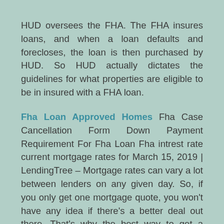HUD oversees the FHA. The FHA insures loans, and when a loan defaults and forecloses, the loan is then purchased by HUD. So HUD actually dictates the guidelines for what properties are eligible to be in insured with a FHA loan.
Fha Loan Approved Homes Fha Case Cancellation Form Down Payment Requirement For Fha Loan Fha intrest rate current mortgage rates for March 15, 2019 | LendingTree – Mortgage rates can vary a lot between lenders on any given day. So, if you only get one mortgage quote, you won't have any idea if there's a better deal out there. That's why the best way to get a mortgage rate it to request quotes from multiple lenders and compare interest rates, loan terms and closing costs FHA Loan Down Payment Assistance | Gov Home